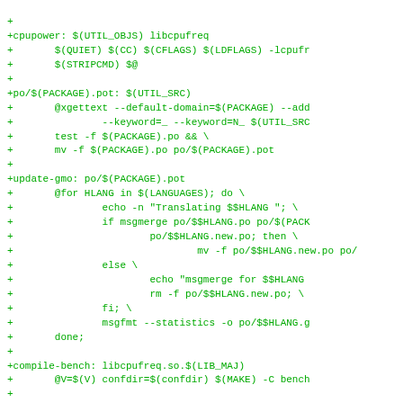code block showing makefile diff with cpupower, po/$(PACKAGE).pot, update-gmo, and compile-bench targets